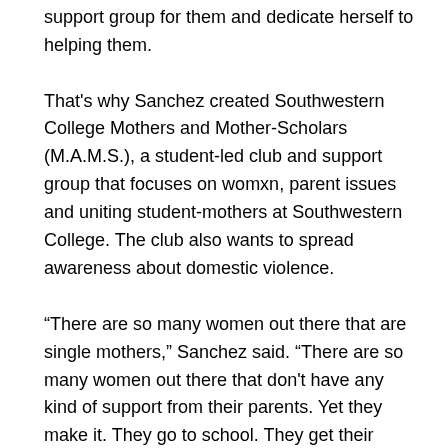Sanchez knew student mothers were all around her so she set out to find them, make a support group for them and dedicate herself to helping them.
That's why Sanchez created Southwestern College Mothers and Mother-Scholars (M.A.M.S.), a student-led club and support group that focuses on womxn, parent issues and uniting student-mothers at Southwestern College. The club also wants to spread awareness about domestic violence.
“There are so many women out there that are single mothers,” Sanchez said. “There are so many women out there that don't have any kind of support from their parents. Yet they make it. They go to school. They get their education, and I don't see them out there so much.”
Sanchez is a sociology major and mother of five, including an 18-year-old who is also a student at Southwestern College.